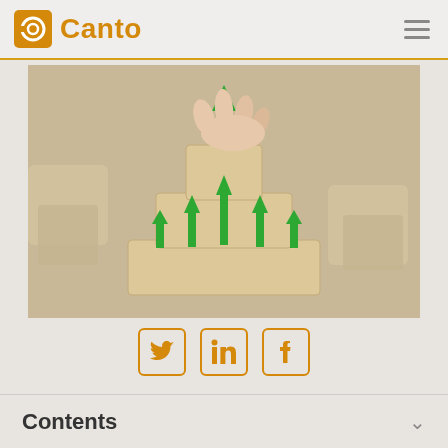Canto
[Figure (photo): Photo of a hand placing a wooden block with green upward arrows on top of a staircase arrangement of wooden blocks, each with green upward arrows, symbolizing growth.]
[Figure (infographic): Social media share icons: Twitter bird, LinkedIn 'in', and Facebook 'f', each in an orange rounded-rectangle border.]
Contents